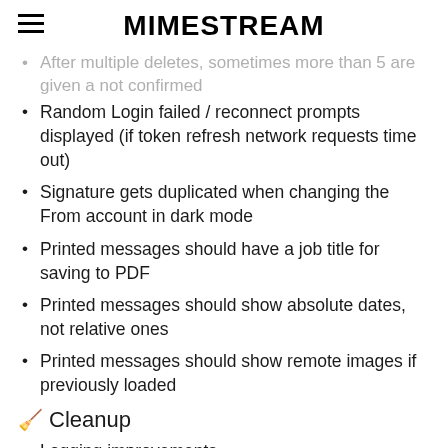MIMESTREAM
After multiple deletes, sometimes more than 5 are given a not confirmed
Random Login failed / reconnect prompts displayed (if token refresh network requests time out)
Signature gets duplicated when changing the From account in dark mode
Printed messages should have a job title for saving to PDF
Printed messages should show absolute dates, not relative ones
Printed messages should show remote images if previously loaded
🧹 Cleanup
Logging improvements
Tweak date format in conversation view